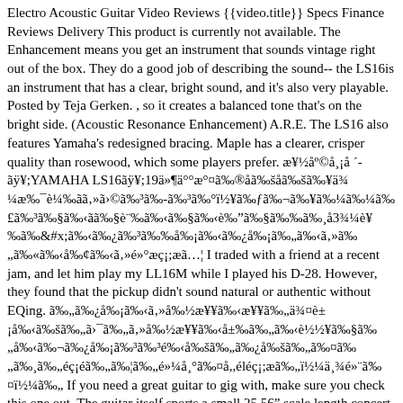Electro Acoustic Guitar Video Reviews {{video.title}} Specs Finance Reviews Delivery This product is currently not available. The Enhancement means you get an instrument that sounds vintage right out of the box. They do a good job of describing the sound-- the LS16is an instrument that has a clear, bright sound, and it's also very playable. Posted by Teja Gerken. , so it creates a balanced tone that's on the bright side. (Acoustic Resonance Enhancement) A.R.E. The LS16 also features Yamaha's redesigned bracing. Maple has a clearer, crisper quality than rosewood, which some players prefer. æ¥½åº©å¸¡å ´-ãYAMAHA LS16ã19ä»¶ä°°æ°¤ã®åãåãã¥ä¾ ¼æ¯è¼ãã»ã©ã³ã-ã³ã°ï½¥ãã¬ãã¥ã¼ã¼ã£ã³ã§ãã§ã§è¨ãã§ãèã§ã¼ãã¸å33¼è¥ã§ãã¿ã³ã¼å¡ãã¿å¡ã¼ãã»ã¼ã«ãå¢ãã»é°æç¡;æãâ¦ I traded with a friend at a recent jam, and let him play my LL16M while I played his D-28. However, they found that the pickup didn't sound natural or authentic without EQing. ãã¿å¡ãã»å½æ¥¥ãæ¥¥ãã¼ä¾¤è± ¡åãåãã¯ãã»å½æ¥¥ãå±ãã¤è½¥ã§ãã¤åãã¬ã¿å¡ã³ã³éãåãã¿åãã¤ãã¸ã¼ãéç¡éãã¦ãé¼å¸¸ã¤å,éléç¡;æãï½¼ä¸éë¨ã¤ï½¼ã If you need a great guitar to gig with, make sure you check this one out. The guitar itself sports a small 25.56" scale length concert sized body, which is crafted with solid Engelmann spruce on the top, with a rosewood laminate back and sides (note that a laminate mahogany version is also a… Yamaha LL16D ARE Review Adam Perlmutter December 30, 2014 A A Certain guitarists speak in